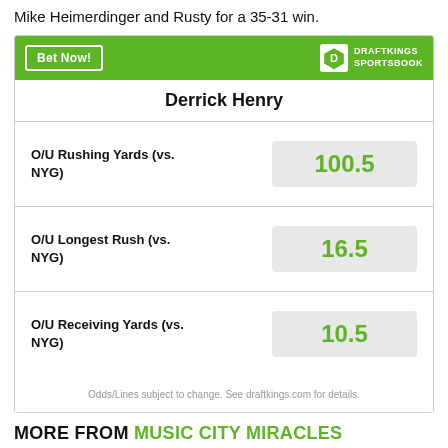Mike Heimerdinger and Rusty for a 35-31 win.
[Figure (other): DraftKings Sportsbook betting widget for Derrick Henry showing player prop odds: O/U Rushing Yards (vs. NYG) 100.5, O/U Longest Rush (vs. NYG) 16.5, O/U Receiving Yards (vs. NYG) 10.5]
MORE FROM MUSIC CITY MIRACLES
Can Derrek Tuszka help Titans pass rush?